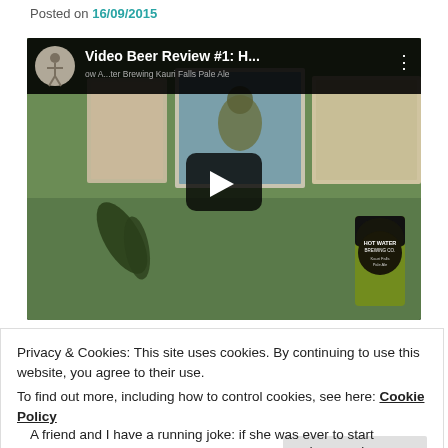Posted on 16/09/2015
[Figure (screenshot): Embedded YouTube video player showing 'Video Beer Beer Review #1: H...' with subtitle 'ow ... ter Brewing Kauri Falls Pale Ale'. Background shows a green room with framed bird art and a Hot Water Brewing Co. can. A play button is centered on the video.]
Privacy & Cookies: This site uses cookies. By continuing to use this website, you agree to their use.
To find out more, including how to control cookies, see here: Cookie Policy
Close and accept
A friend and I have a running joke: if she was ever to start